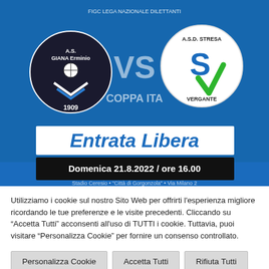[Figure (infographic): Sports match poster showing A.S. Giana Erminio 1909 vs A.S.D. Stresa Vergante, with text 'FIGC LEGA NAZIONALE DILETTANTI', 'VS', 'COPPA ITA[LIA]', 'Entrata Libera', and 'Domenica 21.8.2022 / ore 16.00' on blue background]
Utilizziamo i cookie sul nostro Sito Web per offrirti l'esperienza migliore ricordando le tue preferenze e le visite precedenti. Cliccando su “Accetta Tutti” acconsenti all'uso di TUTTI i cookie. Tuttavia, puoi visitare "Personalizza Cookie" per fornire un consenso controllato.